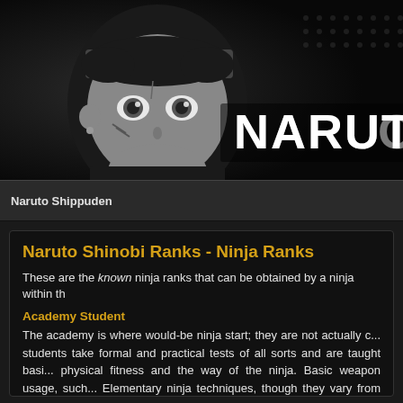[Figure (illustration): Naruto Shippuden banner with anime character (dark-themed ninja with forehead protector and face markings) on the left and 'NARUTO' text in white on the right, dark/black background]
Naruto Shippuden
Naruto Shinobi Ranks - Ninja Ranks
These are the known ninja ranks that can be obtained by a ninja within th
Academy Student
The academy is where would-be ninja start; they are not actually c... students take formal and practical tests of all sorts and are taught basi... physical fitness and the way of the ninja. Basic weapon usage, such... Elementary ninja techniques, though they vary from village to village, are
Upon graduating, students receive a special band of fabric with a metal... commonly referred to as a "forehead protector" or hitai-ate, although it ca... example, wears it as she once wore the ribbon Ino Yamanaka gave he... given by the Jounin sensei of each three-man squad to see if they are tru... bell test, which determines whether the squad can work as a team.... promoted, only three Genin teams are allowed to pass. The test for...